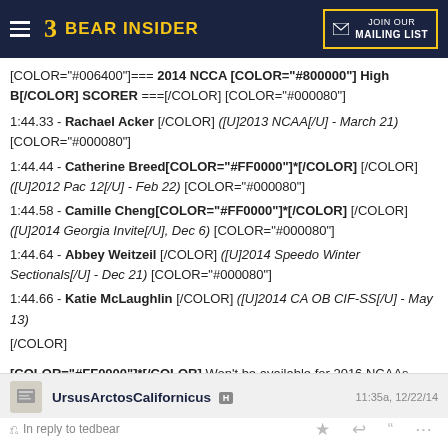BEAR INSIDER | JOIN OUR MAILING LIST
[COLOR="#006400"]=== 2014 NCCA [COLOR="#800000"] High B[/COLOR] SCORER ===[/COLOR] [COLOR="#000080"]

1:44.33 - Rachael Acker [/COLOR] ([U]2013 NCAA[/U] - March 21) [COLOR="#000080"]
1:44.44 - Catherine Breed[COLOR="#FF0000"]*[/COLOR] [/COLOR] ([U]2012 Pac 12[/U] - Feb 22) [COLOR="#000080"]
1:44.58 - Camille Cheng[COLOR="#FF0000"]*[/COLOR] [/COLOR] ([U]2014 Georgia Invite[/U], Dec 6) [COLOR="#000080"]
1:44.64 - Abbey Weitzeil [/COLOR] ([U]2014 Speedo Winter Sectionals[/U] - Dec 21) [COLOR="#000080"]
1:44.66 - Katie McLaughlin [/COLOR] ([U]2014 CA OB CIF-SS[/U] - May 13)
[/COLOR]

[COLOR="#FF0000"]*[/COLOR] Won't be available for 2016 NCAAs...

-----------
UrsusArctosCalifornicus H  11:35a, 12/22/14
In reply to tedbear